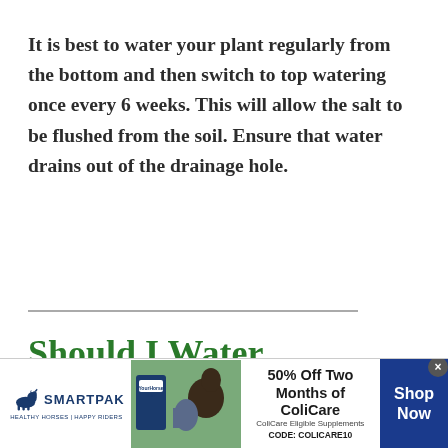It is best to water your plant regularly from the bottom and then switch to top watering once every 6 weeks. This will allow the salt to be flushed from the soil. Ensure that water drains out of the drainage hole.
Should I Water
[Figure (other): SmartPak advertisement banner: logo on left with horse icon, product image in center showing supplement container and person with horse, offer text '50% Off Two Months of ColiCare, ColiCare Eligible Supplements, CODE: COLICARE10', and blue 'Shop Now' button on right.]